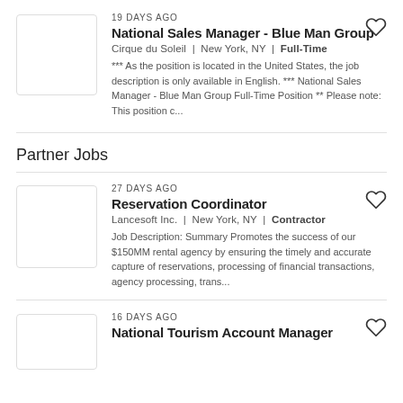19 DAYS AGO
National Sales Manager - Blue Man Group
Cirque du Soleil | New York, NY | Full-Time
*** As the position is located in the United States, the job description is only available in English. *** National Sales Manager - Blue Man Group Full-Time Position ** Please note: This position c...
Partner Jobs
27 DAYS AGO
Reservation Coordinator
Lancesoft Inc. | New York, NY | Contractor
Job Description: Summary Promotes the success of our $150MM rental agency by ensuring the timely and accurate capture of reservations, processing of financial transactions, agency processing, trans...
16 DAYS AGO
National Tourism Account Manager